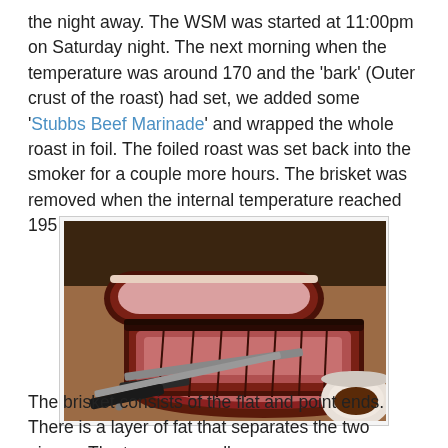the night away. The WSM was started at 11:00pm on Saturday night. The next morning when the temperature was around 170 and the 'bark' (Outer crust of the roast) had set, we added some 'Stubbs Beef Marinade' and wrapped the whole roast in foil. The foiled roast was set back into the smoker for a couple more hours. The brisket was removed when the internal temperature reached 195 degrees.
[Figure (photo): Sliced smoked brisket on a cutting board with two knives and a small bowl of sauce in the lower right corner. The brisket shows a pink smoke ring and dark bark.]
The brisket consists of the flat and point ends. There is a layer of fat that separates the two pieces. The two are usually...